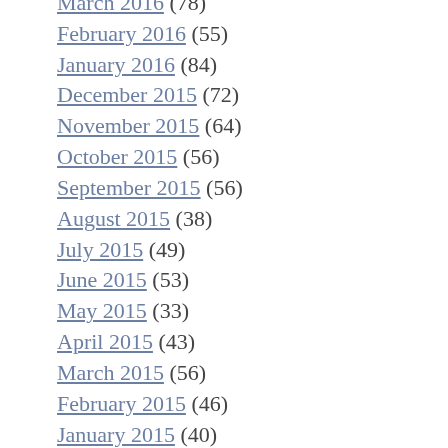March 2016 (78)
February 2016 (55)
January 2016 (84)
December 2015 (72)
November 2015 (64)
October 2015 (56)
September 2015 (56)
August 2015 (38)
July 2015 (49)
June 2015 (53)
May 2015 (33)
April 2015 (43)
March 2015 (56)
February 2015 (46)
January 2015 (40)
December 2014 (53)
November 2014 (49)
October 2014 (45)
September 2014 (47)